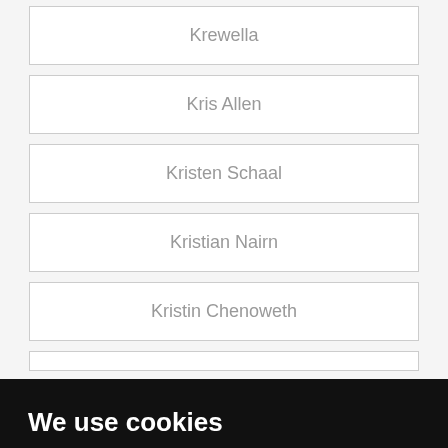Krewella
Kris Allen
Kristen Schaal
Kristian Nairn
Kristin Chenoweth
We use cookies
We use cookies and other tracking technologies to improve your browsing experience on our website, to show you personalized content and targeted ads, to analyze our website traffic, and